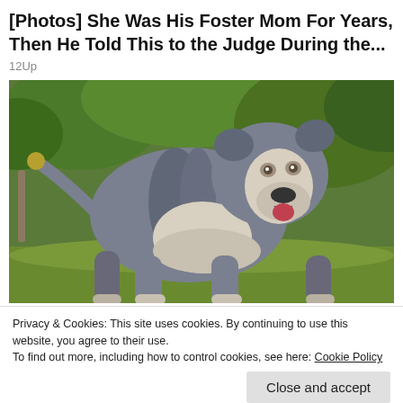[Photos] She Was His Foster Mom For Years, Then He Told This to the Judge During the...
12Up
[Figure (photo): A muscular blue/grey and white pit bull dog standing on grass with green foliage in the background, tongue out, looking at the camera.]
Privacy & Cookies: This site uses cookies. By continuing to use this website, you agree to their use.
To find out more, including how to control cookies, see here: Cookie Policy
Close and accept